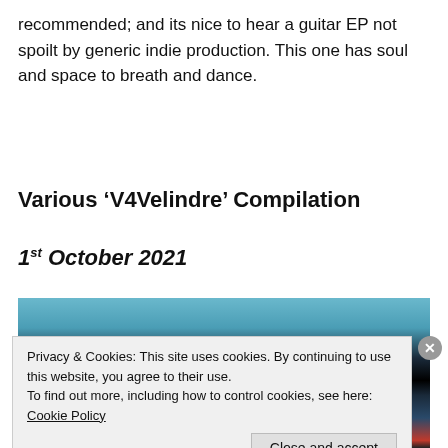recommended; and its nice to hear a guitar EP not spoilt by generic indie production. This one has soul and space to breath and dance.
Various ‘V4Velindre’ Compilation
1st October 2021
[Figure (photo): Album cover image for V4Velindre compilation showing bold white text 'V4VELINDRE' on a dark blue/black background with teal sky at top and red/orange stripe at bottom.]
Privacy & Cookies: This site uses cookies. By continuing to use this website, you agree to their use.
To find out more, including how to control cookies, see here: Cookie Policy

Close and accept